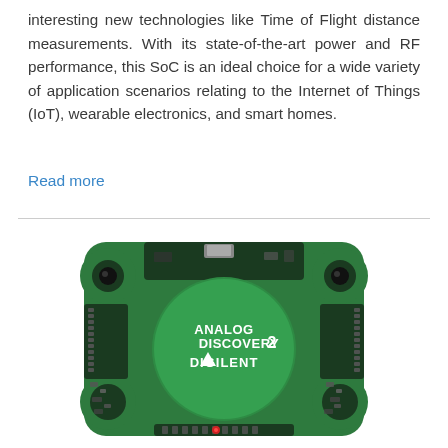interesting new technologies like Time of Flight distance measurements. With its state-of-the-art power and RF performance, this SoC is an ideal choice for a wide variety of application scenarios relating to the Internet of Things (IoT), wearable electronics, and smart homes.
Read more
[Figure (photo): Photo of an Analog Discovery 2 by Digilent — a small green electronic development board/test instrument in a transparent plastic enclosure, showing PCB components, connectors, and a circular green label reading 'ANALOG DISCOVERY 2 / DIGILENT'.]